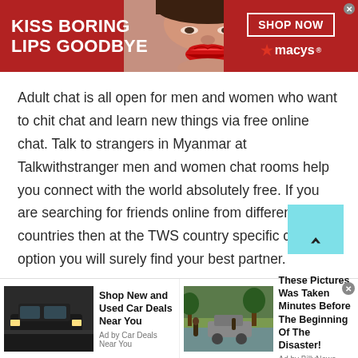[Figure (screenshot): Banner advertisement for Macy's: dark red background, text 'KISS BORING LIPS GOODBYE' in white bold, woman's face with red lips in center, 'SHOP NOW' button with white border on right, Macy's star logo]
Adult chat is all open for men and women who want to chit chat and learn new things via free online chat. Talk to strangers in Myanmar at Talkwithstranger men and women chat rooms help you connect with the world absolutely free. If you are searching for friends online from different countries then at the TWS country specific chat option you will surely find your best partner.
Well, if you think socializing or meeting male and
[Figure (screenshot): Bottom advertisement bar with two ad units: left showing a dark SUV car with text 'Shop New and Used Car Deals Near You' by Car Deals Near You; right showing outdoor flood scene with car and text 'These Pictures Was Taken Minutes Before The Beginning Of The Disaster!' by BillyNews. Close X button in top right.]